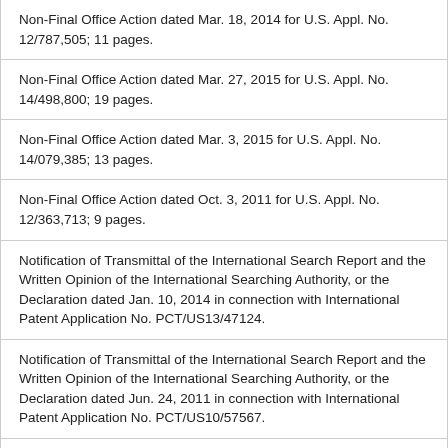Non-Final Office Action dated Mar. 18, 2014 for U.S. Appl. No. 12/787,505; 11 pages.
Non-Final Office Action dated Mar. 27, 2015 for U.S. Appl. No. 14/498,800; 19 pages.
Non-Final Office Action dated Mar. 3, 2015 for U.S. Appl. No. 14/079,385; 13 pages.
Non-Final Office Action dated Oct. 3, 2011 for U.S. Appl. No. 12/363,713; 9 pages.
Notification of Transmittal of the International Search Report and the Written Opinion of the International Searching Authority, or the Declaration dated Jan. 10, 2014 in connection with International Patent Application No. PCT/US13/47124.
Notification of Transmittal of the International Search Report and the Written Opinion of the International Searching Authority, or the Declaration dated Jun. 24, 2011 in connection with International Patent Application No. PCT/US10/57567.
Notification of Transmittal of the International Search Report and the Written Opinion of the International Searching Authority, or the Declaration dated Nov. 14, 2012 in connection with International Patent Application No. PCT/US2012/52897.